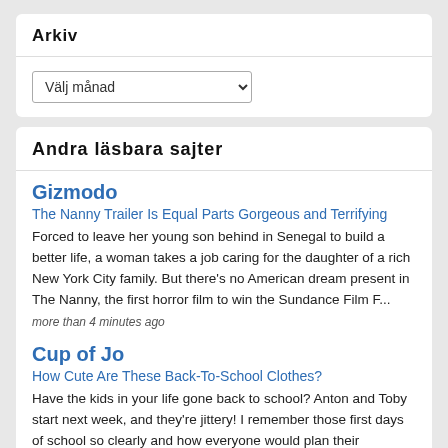Arkiv
Välj månad
Andra läsbara sajter
Gizmodo
The Nanny Trailer Is Equal Parts Gorgeous and Terrifying
Forced to leave her young son behind in Senegal to build a better life, a woman takes a job caring for the daughter of a rich New York City family. But there's no American dream present in The Nanny, the first horror film to win the Sundance Film F...
more than 4 minutes ago
Cup of Jo
How Cute Are These Back-To-School Clothes?
Have the kids in your life gone back to school? Anton and Toby start next week, and they're jittery! I remember those first days of school so clearly and how everyone would plan their outfits…. Read more The post How